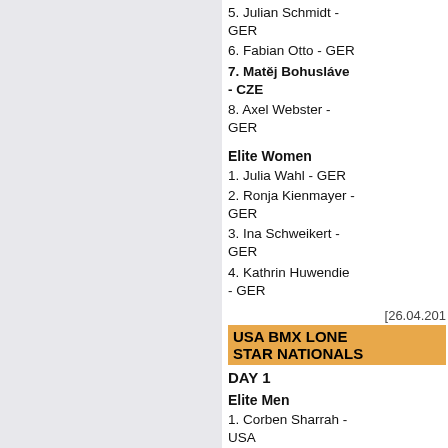5. Julian Schmidt - GER
6. Fabian Otto - GER
7. Matěj Bohusláve - CZE
8. Axel Webster - GER
Elite Women
1. Julia Wahl - GER
2. Ronja Kienmayer - GER
3. Ina Schweikert - GER
4. Kathrin Huwendie - GER
[26.04.201
USA BMX LONE STAR NATIONALS
DAY 1
Elite Men
1. Corben Sharrah - USA
2. Joris Daudet - FR
3. Conor Fields - US
4. Trent Jones - NZL
5. Sylvain Andre - FRA